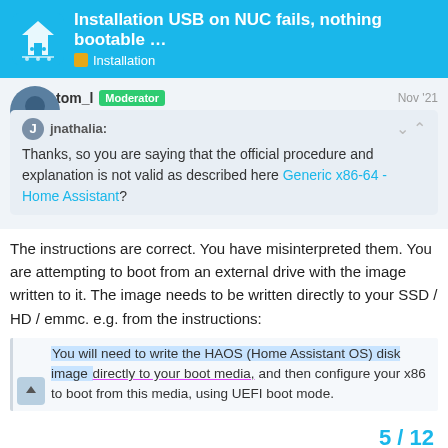Installation USB on NUC fails, nothing bootable … | Installation
tom_l Moderator Nov '21
jnathalia: Thanks, so you are saying that the official procedure and explanation is not valid as described here Generic x86-64 - Home Assistant?
The instructions are correct. You have misinterpreted them. You are attempting to boot from an external drive with the image written to it. The image needs to be written directly to your SSD / HD / emmc. e.g. from the instructions:
You will need to write the HAOS (Home Assistant OS) disk image directly to your boot media, and then configure your x86 to boot from this media, using UEFI boot mode.
5 / 12
As a next step, we need to write the Operating System im